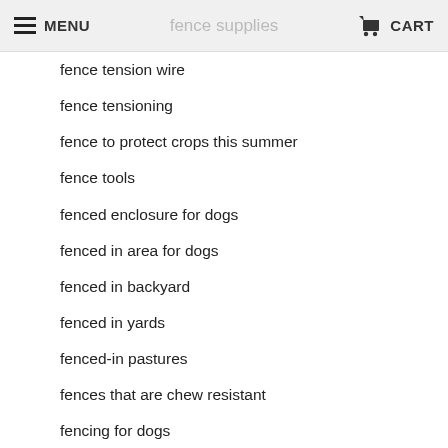fence supplies  MENU  CART
fence tension wire
fence tensioning
fence to protect crops this summer
fence tools
fenced enclosure for dogs
fenced in area for dogs
fenced in backyard
fenced in yards
fenced-in pastures
fences that are chew resistant
fencing for dogs
fencing in dogs
fencing out deer
feral cat assistance